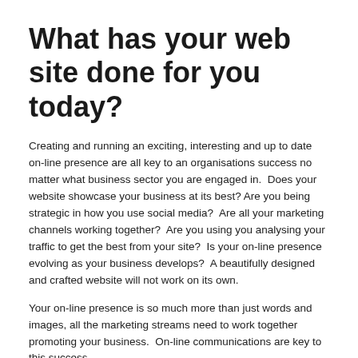What has your web site done for you today?
Creating and running an exciting, interesting and up to date on-line presence are all key to an organisations success no matter what business sector you are engaged in.  Does your website showcase your business at its best? Are you being strategic in how you use social media?  Are all your marketing channels working together?  Are you using you analysing your traffic to get the best from your site?  Is your on-line presence evolving as your business develops?  A beautifully designed and crafted website will not work on its own.
Your on-line presence is so much more than just words and images, all the marketing streams need to work together promoting your business.  On-line communications are key to this success.
Is your business getting the most from the internet?